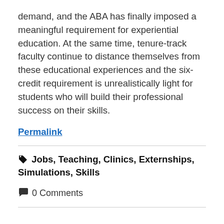demand, and the ABA has finally imposed a meaningful requirement for experiential education. At the same time, tenure-track faculty continue to distance themselves from these educational experiences and the six-credit requirement is unrealistically light for students who will build their professional success on their skills.
Permalink
Jobs, Teaching, Clinics, Externships, Simulations, Skills
0 Comments